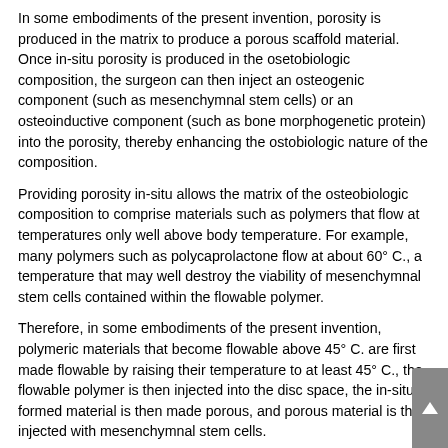In some embodiments of the present invention, porosity is produced in the matrix to produce a porous scaffold material. Once in-situ porosity is produced in the osetobiologic composition, the surgeon can then inject an osteogenic component (such as mesenchymnal stem cells) or an osteoinductive component (such as bone morphogenetic protein) into the porosity, thereby enhancing the ostobiologic nature of the composition.
Providing porosity in-situ allows the matrix of the osteobiologic composition to comprise materials such as polymers that flow at temperatures only well above body temperature. For example, many polymers such as polycaprolactone flow at about 60° C., a temperature that may well destroy the viability of mesenchymnal stem cells contained within the flowable polymer.
Therefore, in some embodiments of the present invention, polymeric materials that become flowable above 45° C. are first made flowable by raising their temperature to at least 45° C., the flowable polymer is then injected into the disc space, the in-situ formed material is then made porous, and porous material is then injected with mesenchymnal stem cells.
In some embodiments of the present invention, in-situ porosity is accomplished by first delivering the matrix material into the disc space as beads, then tightly packing the beads within the disc space, and then bonding the beads, preferably by heat bonding, into a stable structure.